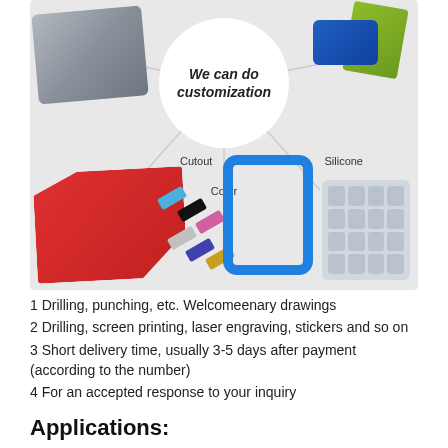[Figure (infographic): Circular infographic showing customization options: center circle reads 'We can do customization', with spokes pointing to product photos labeled Mould (top-left), Sticker (top-right), Cutout (left), Color (bottom-center), and Silicone (right). Products shown include a gray metal mould, a blue/green sticker holder, a red angled bracket, colorful small bars, a blue silicone phone frame, and a translucent silicone keypad.]
1 Drilling, punching, etc. Welcomeenary drawings
2 Drilling, screen printing, laser engraving, stickers and so on
3 Short delivery time, usually 3-5 days after payment (according to the number)
4 For an accepted response to your inquiry
Applications: